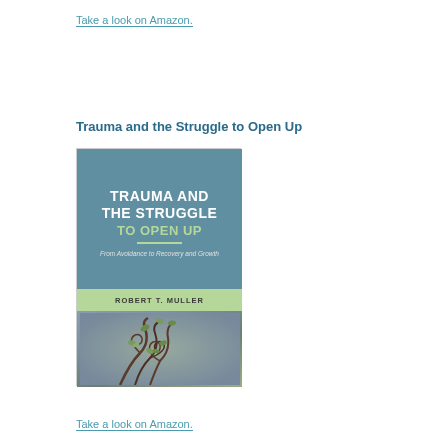Take a look on Amazon.
Trauma and the Struggle to Open Up
[Figure (photo): Book cover of 'Trauma and the Struggle to Open Up: From Avoidance to Recovery and Growth' by Robert T. Muller. Cover has a teal/blue-gray top section with white title text, green accent text for subtitle 'TO OPEN UP', a green divider line, subtitle 'From Avoidance to Recovery and Growth' in italic, a green band with author name 'ROBERT T. MULLER', and a bottom photo section showing twisting plant vines with small green leaves against a blurred background.]
Take a look on Amazon.